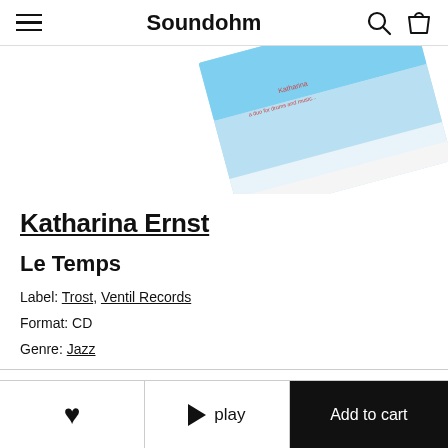Soundohm
[Figure (photo): Partial view of a CD album cover with blue sky and clouds, tilted at an angle. Text on cover reads 'Katharina' and 'a duo for drums and music...' in small red font.]
Katharina Ernst
Le Temps
Label: Trost, Ventil Records
Format: CD
Genre: Jazz